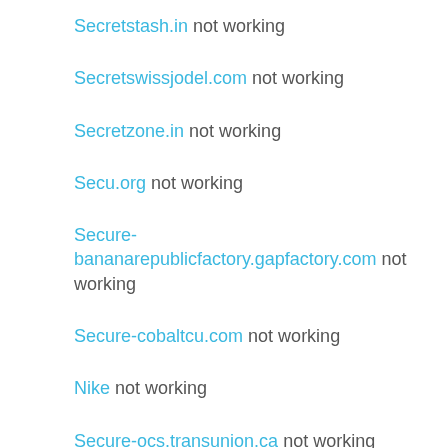Secretstash.in not working
Secretswissjodel.com not working
Secretzone.in not working
Secu.org not working
Secure-bananarepublicfactory.gapfactory.com not working
Secure-cobaltcu.com not working
Nike not working
Secure-ocs.transunion.ca not working
Secure-supply-xml.booking.com not working